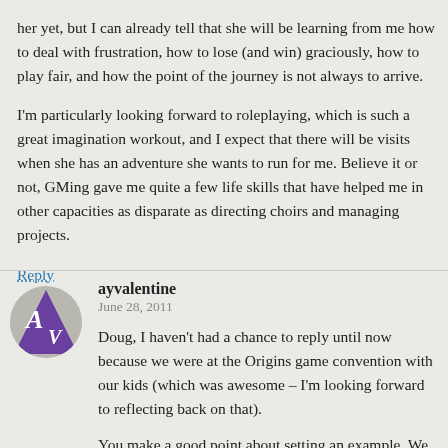her yet, but I can already tell that she will be learning from me how to deal with frustration, how to lose (and win) graciously, how to play fair, and how the point of the journey is not always to arrive.
I'm particularly looking forward to roleplaying, which is such a great imagination workout, and I expect that there will be visits when she has an adventure she wants to run for me. Believe it or not, GMing gave me quite a few life skills that have helped me in other capacities as disparate as directing choirs and managing projects.
Reply
ayvalentine
June 28, 2011
Doug, I haven't had a chance to reply until now because we were at the Origins game convention with our kids (which was awesome – I'm looking forward to reflecting back on that).
You make a good point about setting an example. We set examples for all the kids we